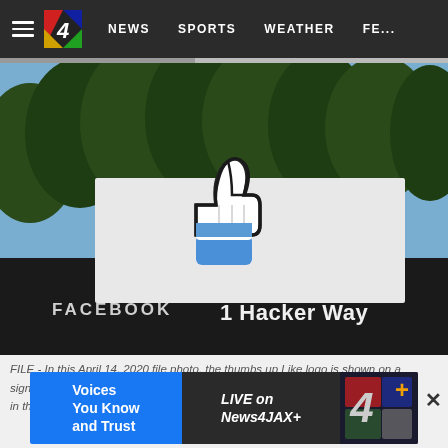NEWS  SPORTS  WEATHER  FE...
[Figure (photo): Facebook headquarters sign at 1 Hacker Way in Menlo Park, Calif., showing the thumbs up Like logo on a white sign above a black base with 'FACEBOOK' and '1 Hacker Way' text.]
FILE - In this April 14, 2020 file photo, the thumbs up Like logo is shown on a sign at Facebook headquarters in Menlo Park, Calif. Facebook doubled its profit in the second quarter thanks to a massive increase in advertis...
[Figure (screenshot): News4JAX+ advertisement banner: 'Voices You Know and Trust' on blue background left, 'LIVE on News4JAX+' on dark background center, News4JAX+ logo on dark background right.]